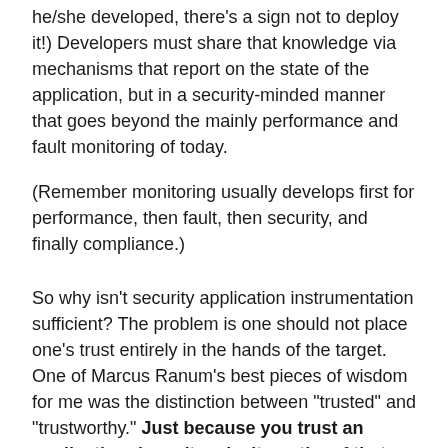he/she developed, there's a sign not to deploy it!) Developers must share that knowledge via mechanisms that report on the state of the application, but in a security-minded manner that goes beyond the mainly performance and fault monitoring of today.
(Remember monitoring usually develops first for performance, then fault, then security, and finally compliance.)
So why isn't security application instrumentation sufficient? The problem is one should not place one's trust entirely in the hands of the target. One of Marcus Ranum's best pieces of wisdom for me was the distinction between "trusted" and "trustworthy." Just because you trust an application doesn't make it worthy of that trust. Just because you have no alternative but to "trust" an application doesn't make it trustworthy either. Trustworthy systems behave in the manner you expect and can be validated by systems outside of the